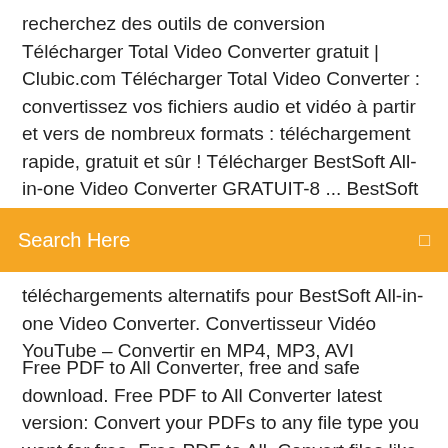recherchez des outils de conversion Télécharger Total Video Converter gratuit | Clubic.com Télécharger Total Video Converter : convertissez vos fichiers audio et vidéo à partir et vers de nombreux formats : téléchargement rapide, gratuit et sûr ! Télécharger BestSoft All-in-one Video Converter GRATUIT-8 ... BestSoft All-in-one Video Converter GRATUIT-8.4.15 pour
[Figure (screenshot): Orange search bar with text 'Search Here' in white and a small icon on the right]
téléchargements alternatifs pour BestSoft All-in-one Video Converter. Convertisseur Vidéo YouTube – Convertir en MP4, MP3, AVI
Free PDF to All Converter, free and safe download. Free PDF to All Converter latest version: Convert your PDFs to any file type you want for free. Free PDF to All  Convert files like images, video, documents, audio and more to other formats with this free and fast online converter. Jan 17, 2020 Need a YouTube to MP3 converter to download your favorite songs to your